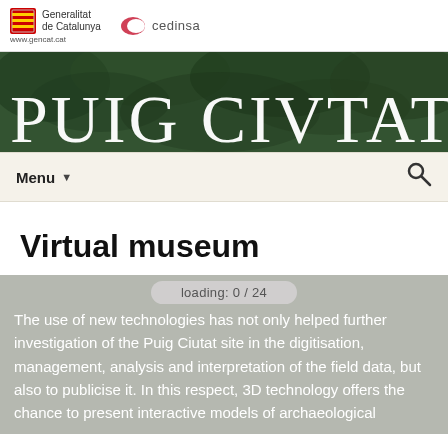[Figure (logo): Generalitat de Catalunya shield logo with text and www.gencat.cat URL, alongside Cedinsa logo with red crescent icon]
[Figure (photo): Green aerial forest/vegetation background banner with white serif text 'PUIG CIVTAT']
Menu ▼   🔍
Virtual museum
loading: 0 / 24
The use of new technologies has not only helped further investigation of the Puig Ciutat site in the digitisation, management, analysis and interpretation of the field data, but also to publicise it. In this respect, 3D technology offers the chance to present interactive models of archaeological